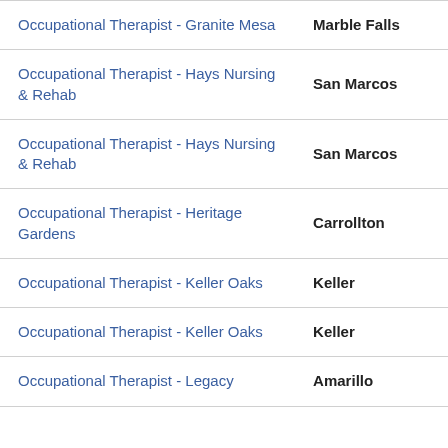| Job Title | Location |
| --- | --- |
| Occupational Therapist - Granite Mesa | Marble Falls |
| Occupational Therapist - Hays Nursing & Rehab | San Marcos |
| Occupational Therapist - Hays Nursing & Rehab | San Marcos |
| Occupational Therapist - Heritage Gardens | Carrollton |
| Occupational Therapist - Keller Oaks | Keller |
| Occupational Therapist - Keller Oaks | Keller |
| Occupational Therapist - Legacy | Amarillo |